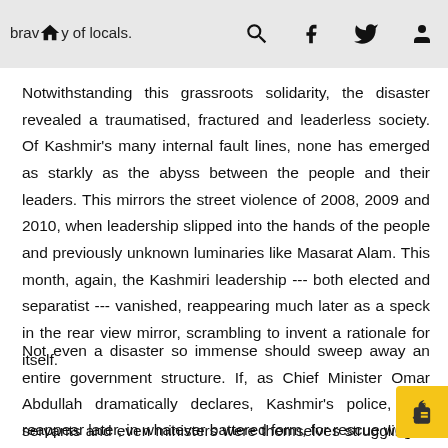bravery of locals. [home icon] [search icon] [facebook icon] [twitter icon] [user icon]
Notwithstanding this grassroots solidarity, the disaster revealed a traumatised, fractured and leaderless society. Of Kashmir's many internal fault lines, none has emerged as starkly as the abyss between the people and their leaders. This mirrors the street violence of 2008, 2009 and 2010, when leadership slipped into the hands of the people and previously unknown luminaries like Masarat Alam. This month, again, the Kashmiri leadership --- both elected and separatist --- vanished, reappearing much later as a speck in the rear view mirror, scrambling to invent a rationale for itself.
Not even a disaster so immense should sweep away an entire government structure. If, as Chief Minister Omar Abdullah dramatically declares, Kashmir's police, civil servants and even ministers were themselves struggling to survive, why did they reappear later, in whatever battered form, for rescue work?